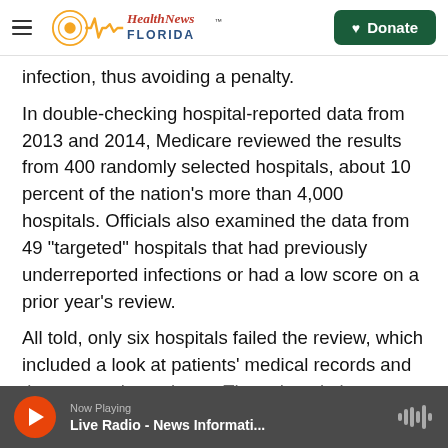Health News Florida — Donate
infection, thus avoiding a penalty.
In double-checking hospital-reported data from 2013 and 2014, Medicare reviewed the results from 400 randomly selected hospitals, about 10 percent of the nation's more than 4,000 hospitals. Officials also examined the data from 49 "targeted" hospitals that had previously underreported infections or had a low score on a prior year's review.
All told, only six hospitals failed the review, which included a look at patients' medical records and tissue sample analyses. These hospitals were
Now Playing — Live Radio - News Informati...